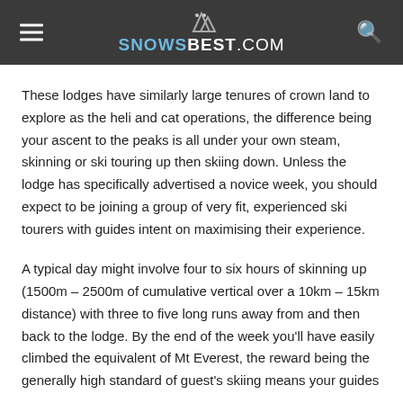SNOWSBEST.COM
These lodges have similarly large tenures of crown land to explore as the heli and cat operations, the difference being your ascent to the peaks is all under your own steam, skinning or ski touring up then skiing down. Unless the lodge has specifically advertised a novice week, you should expect to be joining a group of very fit, experienced ski tourers with guides intent on maximising their experience.
A typical day might involve four to six hours of skinning up (1500m – 2500m of cumulative vertical over a 10km – 15km distance) with three to five long runs away from and then back to the lodge. By the end of the week you'll have easily climbed the equivalent of Mt Everest, the reward being the generally high standard of guest's skiing means your guides